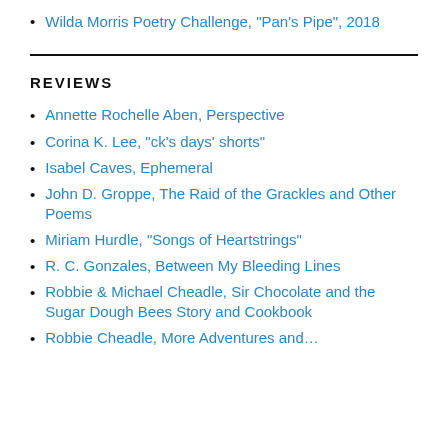Wilda Morris Poetry Challenge, "Pan's Pipe", 2018
REVIEWS
Annette Rochelle Aben, Perspective
Corina K. Lee, "ck's days' shorts"
Isabel Caves, Ephemeral
John D. Groppe, The Raid of the Grackles and Other Poems
Miriam Hurdle, "Songs of Heartstrings"
R. C. Gonzales, Between My Bleeding Lines
Robbie & Michael Cheadle, Sir Chocolate and the Sugar Dough Bees Story and Cookbook
Robbie Cheadle, More Adventures and...